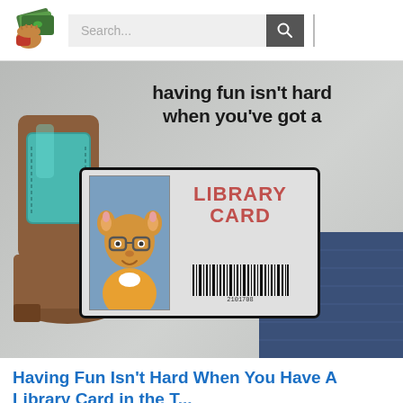Search...
[Figure (photo): A gray t-shirt laid flat showing text 'having fun isn't hard when you've got a LIBRARY CARD' with Arthur the cartoon aardvark character shown on a library card graphic. Cowboy boots visible on the left, jeans on the right.]
Having Fun Isn't Hard When You Have A Library Card in the T...